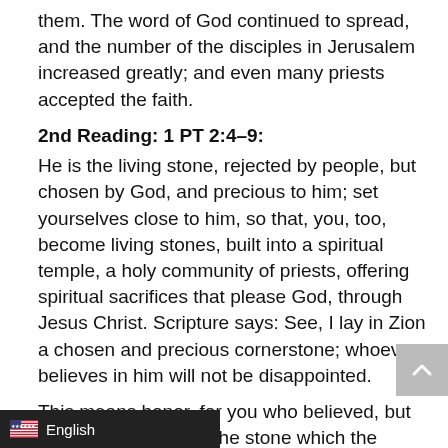them. The word of God continued to spread, and the number of the disciples in Jerusalem increased greatly; and even many priests accepted the faith.
2nd Reading: 1 PT 2:4–9:
He is the living stone, rejected by people, but chosen by God, and precious to him; set yourselves close to him, so that, you, too, become living stones, built into a spiritual temple, a holy community of priests, offering spiritual sacrifices that please God, through Jesus Christ. Scripture says: See, I lay in Zion a chosen and precious cornerstone; whoever believes in him will not be disappointed.
This means honor, for you who believed, but for unbelievers, also the stone which the builders rejected has become the cornerstone and it is a stone to stumble over, a rock which lays people low. They stumble over it, in rejecting the word, but the plan of God is fulfilled in this. You are a chosen race, a community of priest-kings, a consecrated nation, a people God has made his own, to proclaim his wonders. For he calle your darkness, to his own wonderful light.